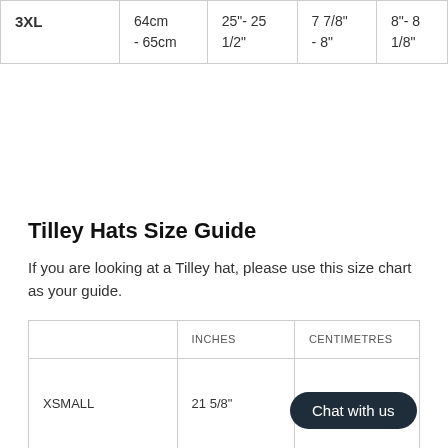|  |  |  |  |  |
| --- | --- | --- | --- | --- |
| 3XL | 64cm
- 65cm | 25"- 25 1/2" | 7 7/8"
- 8" | 8"- 8 1/8" |
Tilley Hats Size Guide
If you are looking at a Tilley hat, please use this size chart as your guide.
|  | INCHES | CENTIMETRES |
| --- | --- | --- |
| XSMALL | 21 5/8" |  |